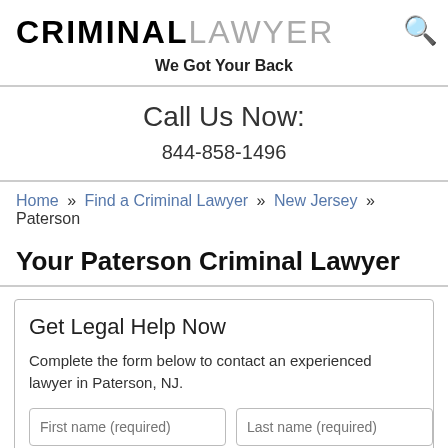CRIMINALLAWYER — We Got Your Back
Call Us Now:
844-858-1496
Home » Find a Criminal Lawyer » New Jersey » Paterson
Your Paterson Criminal Lawyer
Get Legal Help Now
Complete the form below to contact an experienced lawyer in Paterson, NJ.